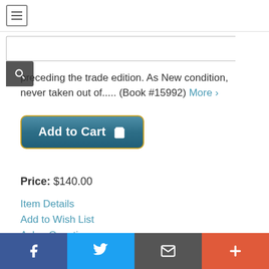[Figure (screenshot): Navigation bar with hamburger menu icon]
[Figure (screenshot): Search input field with search button]
preceding the trade edition. As New condition, never taken out of..... (Book #15992) More >
[Figure (screenshot): Add to Cart button with cart icon]
Price: $140.00
Item Details
Add to Wish List
Ask a Question
[Figure (screenshot): Social media footer bar with Facebook, Twitter, Email, and Plus buttons]